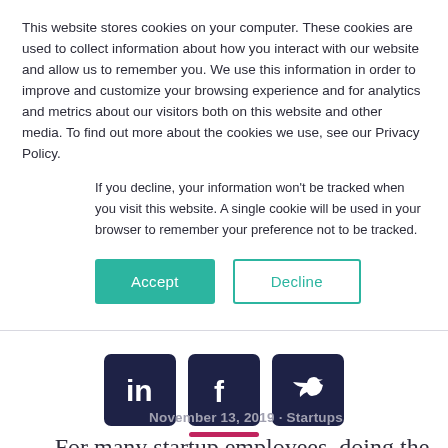This website stores cookies on your computer. These cookies are used to collect information about how you interact with our website and allow us to remember you. We use this information in order to improve and customize your browsing experience and for analytics and metrics about our visitors both on this website and other media. To find out more about the cookies we use, see our Privacy Policy.
If you decline, your information won't be tracked when you visit this website. A single cookie will be used in your browser to remember your preference not to be tracked.
[Figure (other): Accept and Decline buttons for cookie consent]
[Figure (other): Social media icons: LinkedIn, Facebook, Twitter]
[Figure (other): Pink horizontal decorative bar]
November 13, 2019 · Startups
For many startup employees, doing the